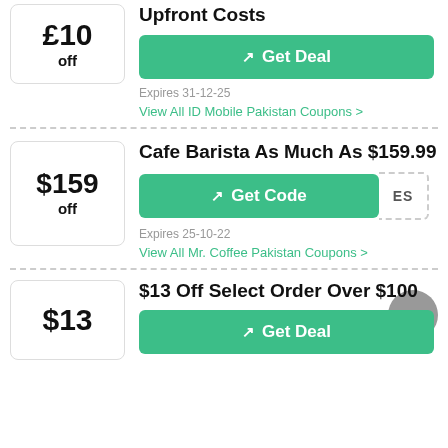£10 off
Upfront Costs
Get Deal
Expires 31-12-25
View All ID Mobile Pakistan Coupons >
$159 off
Cafe Barista As Much As $159.99
Get Code
Expires 25-10-22
View All Mr. Coffee Pakistan Coupons >
$13
$13 Off Select Order Over $100
Get Deal